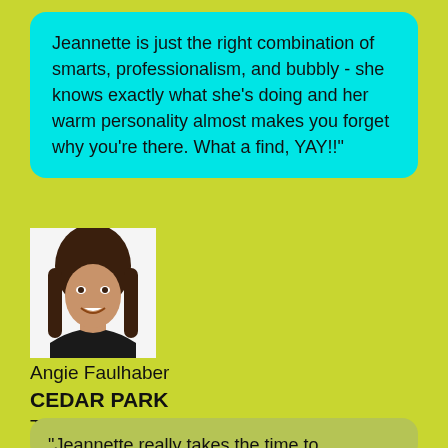Jeannette is just the right combination of smarts, professionalism, and bubbly - she knows exactly what she's doing and her warm personality almost makes you forget why you're there. What a find, YAY!!"
[Figure (photo): Headshot photo of a woman with long dark brown hair, smiling, wearing a black top, against a white background]
Angie Faulhaber
CEDAR PARK
TEXAS
"Jeannette really takes the time to